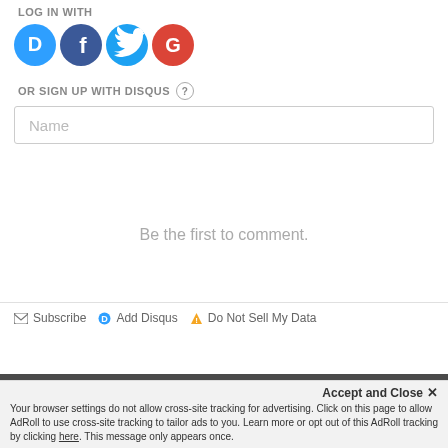LOG IN WITH
[Figure (logo): Four social login icons: Disqus (blue speech bubble with D), Facebook (dark blue circle with f), Twitter (light blue circle with bird), Google (red circle with G)]
OR SIGN UP WITH DISQUS ?
[Figure (screenshot): Name text input field with placeholder text 'Name']
Be the first to comment.
Subscribe  Add Disqus  Do Not Sell My Data  DISQUS
Accept and Close ✕
Your browser settings do not allow cross-site tracking for advertising. Click on this page to allow AdRoll to use cross-site tracking to tailor ads to you. Learn more or opt out of this AdRoll tracking by clicking here. This message only appears once.